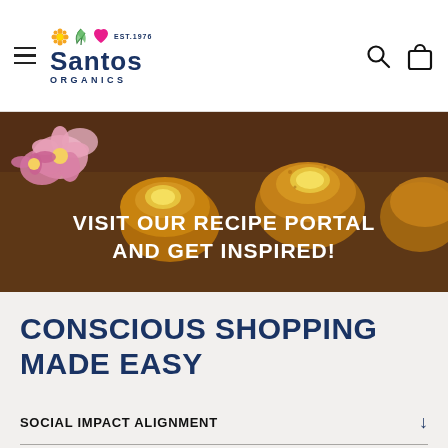Santos Organics
[Figure (photo): Food photography banner showing baked goods with banana slices and pink daisy flowers on a wooden board, with text overlay: VISIT OUR RECIPE PORTAL AND GET INSPIRED!]
CONSCIOUS SHOPPING MADE EASY
SOCIAL IMPACT ALIGNMENT
PRODUCT ORIGIN